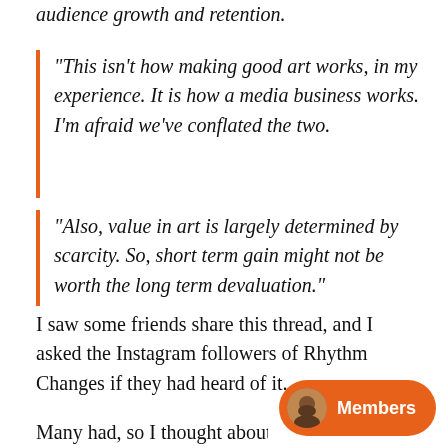audience growth and retention.
"This isn't how making good art works, in my experience. It is how a media business works. I'm afraid we've conflated the two.
"Also, value in art is largely determined by scarcity. So, short term gain might not be worth the long term devaluation."
I saw some friends share this thread, and I asked the Instagram followers of Rhythm Changes if they had heard of it.
Many had, so I thought about it as be